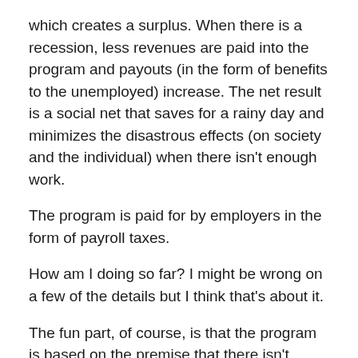which creates a surplus. When there is a recession, less revenues are paid into the program and payouts (in the form of benefits to the unemployed) increase. The net result is a social net that saves for a rainy day and minimizes the disastrous effects (on society and the individual) when there isn't enough work.
The program is paid for by employers in the form of payroll taxes.
How am I doing so far? I might be wrong on a few of the details but I think that's about it.
The fun part, of course, is that the program is based on the premise that there isn't enough work. In other words, if you quit or get fired, this program isn't for you. Move along, move along. I guess that basically means it covers people who have their jobs...